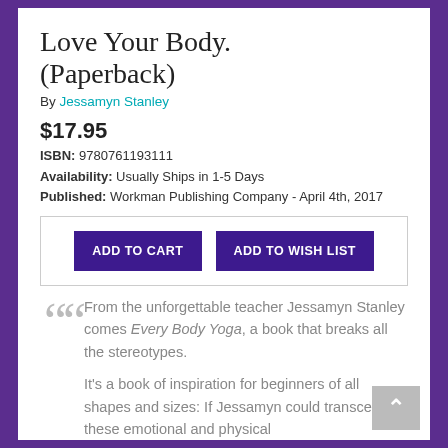Love Your Body. (Paperback)
By Jessamyn Stanley
$17.95
ISBN: 9780761193111
Availability: Usually Ships in 1-5 Days
Published: Workman Publishing Company - April 4th, 2017
[Figure (other): Two buttons: ADD TO CART and ADD TO WISH LIST in purple]
From the unforgettable teacher Jessamyn Stanley comes Every Body Yoga, a book that breaks all the stereotypes.

It's a book of inspiration for beginners of all shapes and sizes: If Jessamyn could transcend these emotional and physical